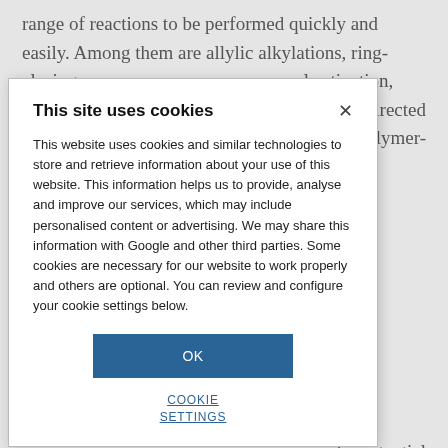range of reactions to be performed quickly and easily. Among them are allylic alkylations, ring-closing
l activation, ns directed g polymer-
he potential ash the huge n metal-catalysed e synthesis of fine umination of
This site uses cookies

This website uses cookies and similar technologies to store and retrieve information about your use of this website. This information helps us to provide, analyse and improve our services, which may include personalised content or advertising. We may share this information with Google and other third parties. Some cookies are necessary for our website to work properly and others are optional. You can review and configure your cookie settings below.

OK

COOKIE SETTINGS